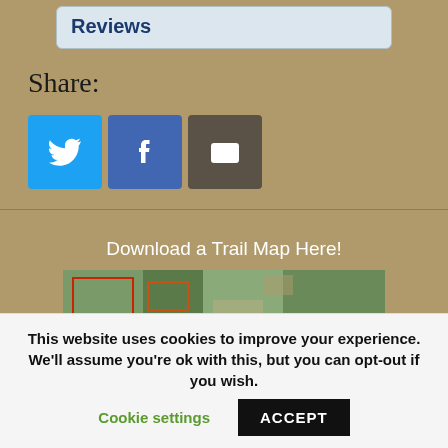Reviews
Share:
[Figure (other): Social share buttons: Twitter (blue), Facebook (dark blue), Email (brown/grey)]
Download a Trail Map Here!
[Figure (map): Aerial/satellite trail map image thumbnail]
This website uses cookies to improve your experience. We'll assume you're ok with this, but you can opt-out if you wish.
Cookie settings
ACCEPT